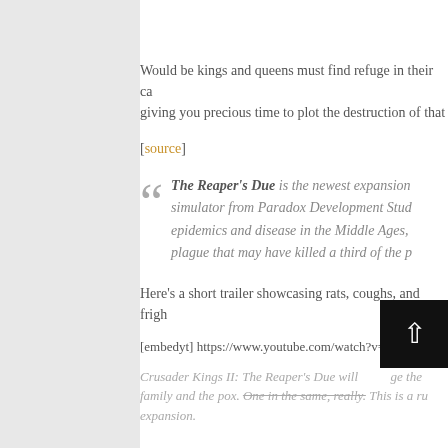Would be kings and queens must find refuge in their ca giving you precious time to plot the destruction of that
[source]
The Reaper's Due is the newest expansion simulator from Paradox Development Stud epidemics and disease in the Middle Ages, plague that may have killed a third of the p
Here's a short trailer showcasing rats, coughs, and frigh
[embedyt] https://www.youtube.com/watch?v=GxAbWo
Crusader Kings II: The Reaper's Due will age the family and the pox. One in the same, really. This is a ru expansion.